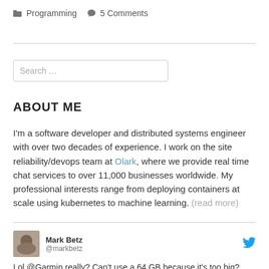📁 Programming  💬 5 Comments
Search …
ABOUT ME
I'm a software developer and distributed systems engineer with over two decades of experience. I work on the site reliability/devops team at Olark, where we provide real time chat services to over 11,000 businesses worldwide. My professional interests range from deploying containers at scale using kubernetes to machine learning. (read more)
Mark Betz @markbetz  Lol @Garmin really? Can't use a 64 GB because it's too big?